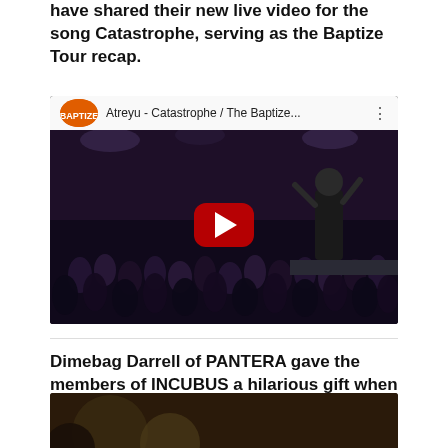have shared their new live video for the song Catastrophe, serving as the Baptize Tour recap.
[Figure (screenshot): YouTube video embed showing 'Atreyu - Catastrophe / The Baptize...' with a concert crowd photo and red play button. Channel logo visible top left.]
Dimebag Darrell of PANTERA gave the members of INCUBUS a hilarious gift when the band's performed together back in the 90s.
[Figure (photo): Partial bottom photo, appears to show a person, partially cut off at bottom of page.]